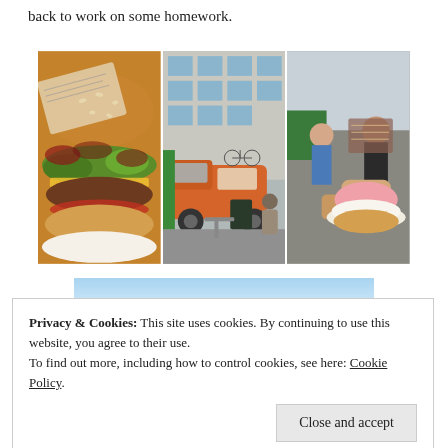back to work on some homework.
[Figure (photo): Three food photos side by side: a burger wrapped in newspaper on the left, an orange food truck van on a street in the middle, and a person holding a pink-frosted donut/pastry sandwich on the right.]
[Figure (photo): Partial view of a blue and white image — partially obscured by the cookie consent banner.]
Privacy & Cookies: This site uses cookies. By continuing to use this website, you agree to their use.
To find out more, including how to control cookies, see here: Cookie Policy
Close and accept